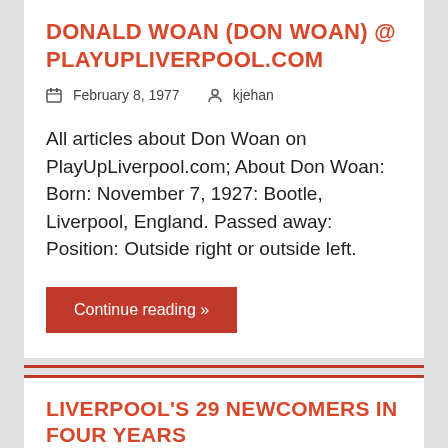DONALD WOAN (DON WOAN) @ PLAYUPLIVERPOOL.COM
February 8, 1977   kjehan
All articles about Don Woan on PlayUpLiverpool.com; About Don Woan: Born: November 7, 1927: Bootle, Liverpool, England. Passed away: Position: Outside right or outside left.
Continue reading »
LIVERPOOL'S 29 NEWCOMERS IN FOUR YEARS
March 20, 1954   kjehan